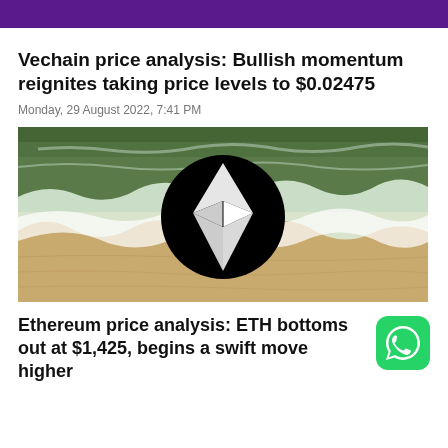Vechain price analysis: Bullish momentum reignites taking price levels to $0.02475
Monday, 29 August 2022, 7:41 PM
[Figure (photo): Aerial view of ocean waves on sandy beach with Ethereum logo (black circle with white diamond/ETH symbol) overlaid in the center]
Ethereum price analysis: ETH bottoms out at $1,425, begins a swift move higher
[Figure (logo): WhatsApp logo — white phone icon on green rounded square background]